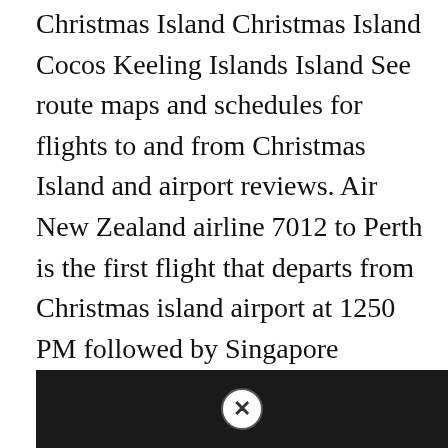Christmas Island Christmas Island Cocos Keeling Islands Island See route maps and schedules for flights to and from Christmas Island and airport reviews. Air New Zealand airline 7012 to Perth is the first flight that departs from Christmas island airport at 1250 PM followed by Singapore Airlines airline 6371 to Perth at 1250 PM. There are no land neighbouring countries. Christmas Island IATA airport code. Baggage Services is located in the Arrivals Hall Ground floor.
[Figure (photo): Dark image with a circular close/dismiss button (X icon) centered at the top, suggesting an advertisement or overlay panel with a dark background.]